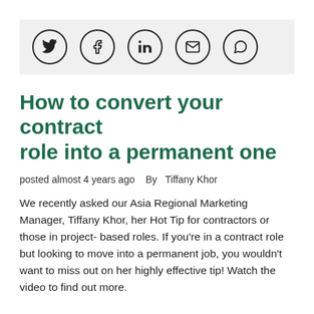[Figure (infographic): Social share bar with five circular icon buttons: Twitter, Facebook, LinkedIn, Email, WhatsApp]
How to convert your contract role into a permanent one
posted almost 4 years ago   By   Tiffany Khor
We recently asked our Asia Regional Marketing Manager, Tiffany Khor, her Hot Tip for contractors or those in project-based roles. If you're in a contract role but looking to move into a permanent job, you wouldn't want to miss out on her highly effective tip! Watch the video to find out more.